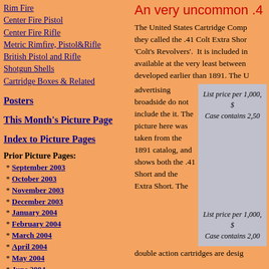Rim Fire
Center Fire Pistol
Center Fire Rifle
Metric Rimfire, Pistol&Rifle
British Pistol and Rifle
Shotgun Shells
Cartridge Boxes & Related
Posters
This Month's Picture Page
Index to Picture Pages
Prior Picture Pages:
* September 2003
* October 2003
* November 2003
* December 2003
* January 2004
* February 2004
* March 2004
* April 2004
* May 2004
* June 2004
* July 2004
An very uncommon .4...
The United States Cartridge Comp... they called the .41 Colt Extra Shor... 'Colt's Revolvers'. It is included in... available at the very least between... developed earlier than 1891. The U... advertising broadside do not include the it. The picture here was taken from the 1891 catalog, and shows both the .41 Short and the Extra Short. The double action cartridges are desig...
[Figure (illustration): Gray catalog page image showing price listings: 'List price per 1,000, $...' and 'Case contains 2,50...' and 'List price per 1,000, $...' and 'Case contains 2,00...']